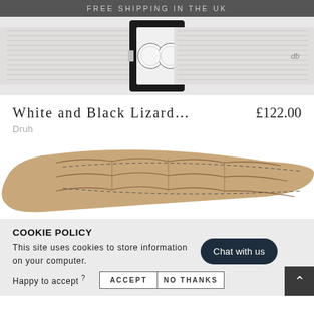FREE SHIPPING IN THE UK
[Figure (photo): Close-up top view of a white and black lizard-print watch strap with watch face visible, silver hardware]
White and Black Lizard…
£122.00
Druh
[Figure (photo): Close-up of a tan/beige crocodile or lizard textured leather strap, tapered end visible against white background]
COOKIE POLICY
This site uses cookies to store information on your computer.
Happy to accept ?
ACCEPT
NO THANKS
Chat with us